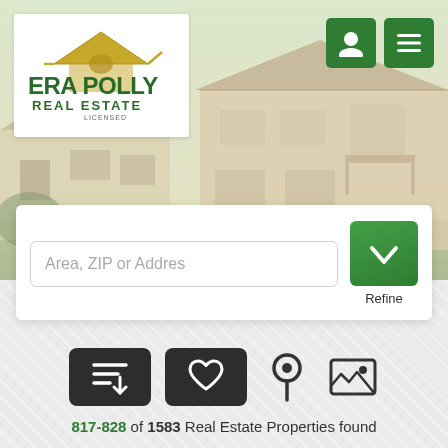[Figure (screenshot): ERA Polly Real Estate logo with green house icon and company name]
[Figure (screenshot): Navigation icons: user profile button and menu button, both dark green]
[Figure (photo): Background hero image of a beige/tan Mediterranean style house with tile roof]
Area, ZIP or Addres
[Figure (screenshot): Green refine/dropdown button with checkmark icon and Refine label]
[Figure (screenshot): Dark sort button with descending list icon]
[Figure (screenshot): Dark favorites button with heart icon]
[Figure (screenshot): Map pin/location icon]
[Figure (screenshot): Image/photo view icon]
817-828 of 1583 Real Estate Properties found